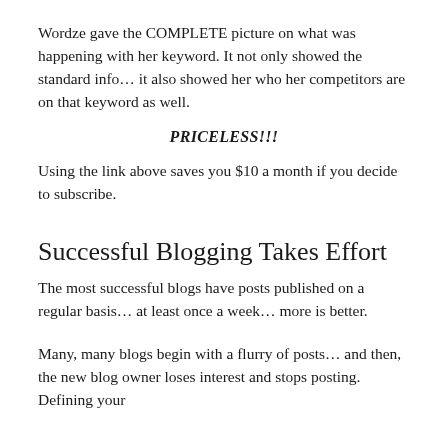Wordze gave the COMPLETE picture on what was happening with her keyword. It not only showed the standard info… it also showed her who her competitors are on that keyword as well.
PRICELESS!!!
Using the link above saves you $10 a month if you decide to subscribe.
Successful Blogging Takes Effort
The most successful blogs have posts published on a regular basis… at least once a week… more is better.
Many, many blogs begin with a flurry of posts… and then, the new blog owner loses interest and stops posting.  Defining your